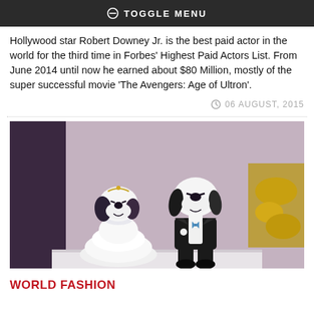TOGGLE MENU
Hollywood star Robert Downey Jr. is the best paid actor in the world for the third time in Forbes' Highest Paid Actors List. From June 2014 until now he earned about $80 Million, mostly of the super successful movie 'The Avengers: Age of Ultron'.
06 AUGUST, 2015
[Figure (photo): Two Snoopy figurines dressed as a bride and groom. The left figurine wears a white wedding dress, the right wears a black tuxedo. They stand on a white surface with ornate golden decorations in the background.]
WORLD FASHION